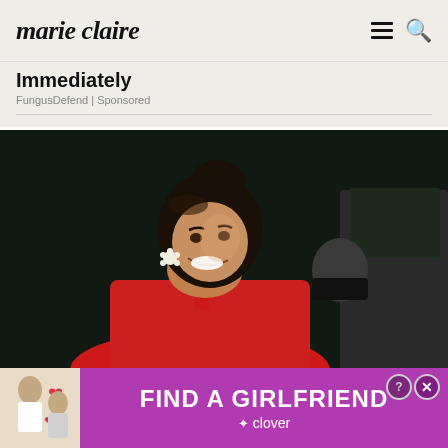marie claire
Immediately
FungusDefend | Sponsored
[Figure (photo): Woman in red dress with dark hair in an updo, smiling, wearing flower earrings, at an event with dark background; another person in black mask and a person in dark suit visible behind her.]
[Figure (photo): Advertisement banner: 'FIND A GIRLFRIEND' by Clover app, with woman photos and heart emojis on left side, purple background.]